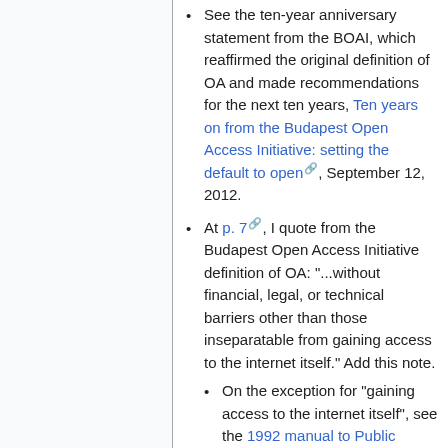See the ten-year anniversary statement from the BOAI, which reaffirmed the original definition of OA and made recommendations for the next ten years, Ten years on from the Budapest Open Access Initiative: setting the default to open, September 12, 2012.
At p. 7, I quote from the Budapest Open Access Initiative definition of OA: "...without financial, legal, or technical barriers other than those inseparatable from gaining access to the internet itself." Add this note.
On the exception for "gaining access to the internet itself", see the 1992 manual to Public Access Online System (perma.cc link) from the US...